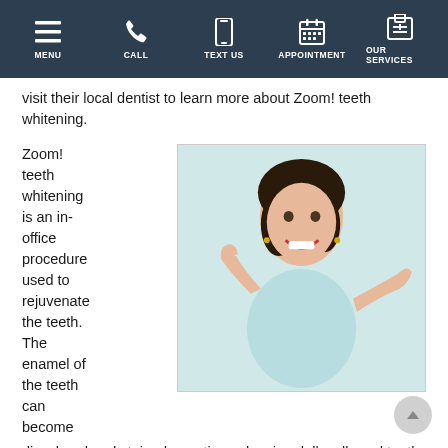MENU | CALL | TEXT US | APPOINTMENT | OUR SERVICES
visit their local dentist to learn more about Zoom! teeth whitening.
Zoom! teeth whitening is an in-office procedure used to rejuvenate the teeth. The enamel of the teeth can become
[Figure (photo): Woman smiling and pointing at her teeth with both hands, wearing a light blue top against a white/light background.]
discolored and stained over time, showing dull, yellowed teeth. The